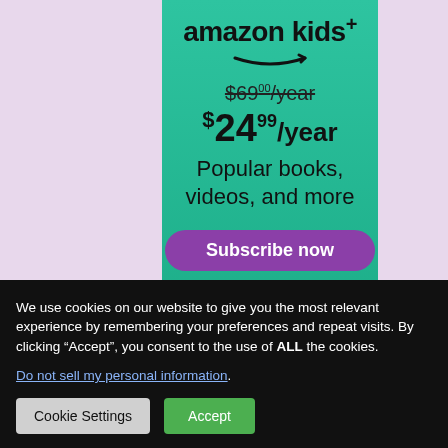[Figure (screenshot): Amazon Kids+ subscription advertisement banner on a teal/green gradient background showing pricing and a Subscribe now button]
We use cookies on our website to give you the most relevant experience by remembering your preferences and repeat visits. By clicking “Accept”, you consent to the use of ALL the cookies.
Do not sell my personal information.
Cookie Settings
Accept